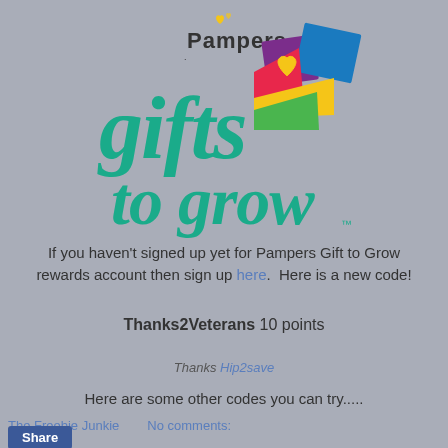[Figure (logo): Pampers Gifts to Grow logo with colorful geometric shapes and teal script text]
If you haven't signed up yet for Pampers Gift to Grow rewards account then sign up here.  Here is a new code!
Thanks2Veterans 10 points
Thanks Hip2save
Here are some other codes you can try.....
The Freebie Junkie   No comments: